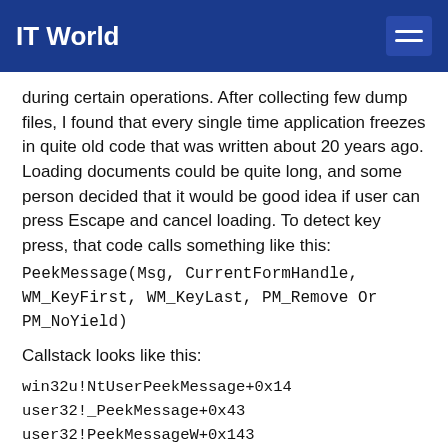IT World
during certain operations. After collecting few dump files, I found that every single time application freezes in quite old code that was written about 20 years ago. Loading documents could be quite long, and some person decided that it would be good idea if user can press Escape and cancel loading. To detect key press, that code calls something like this:
PeekMessage(Msg, CurrentFormHandle,
WM_KeyFirst, WM_KeyLast, PM_Remove Or
PM_NoYield)
Callstack looks like this:
win32u!NtUserPeekMessage+0x14
user32!_PeekMessage+0x43
user32!PeekMessageW+0x143